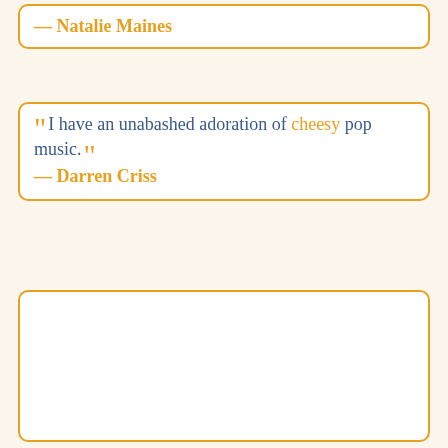— Natalie Maines
“I have an unabashed adoration of cheesy pop music.”
— Darren Criss